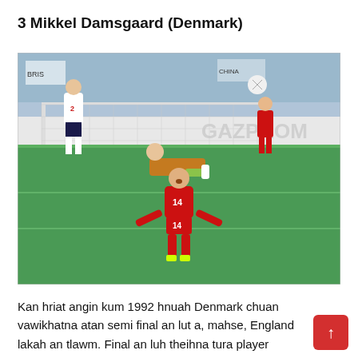3 Mikkel Damsgaard (Denmark)
[Figure (photo): A football match scene showing a Denmark player wearing number 14 in a red kit celebrating after scoring, arms spread wide, mouth open shouting. In the background, an England goalkeeper in yellow is sitting on the ground near the goal net, an England defender in white with number 2 is visible to the left, and another Denmark player in red is running in the background. Advertising boards read GAZPROM. Stadium crowd visible behind the goal.]
Kan hriat angin kum 1992 hnuah Denmark chuan vawikhatna atan semi final an lut a, mahse, England lakah an tlawm. Final an luh theihna tura player